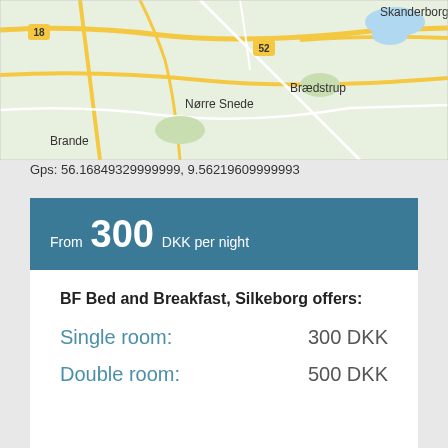[Figure (map): Map showing area around Silkeborg, Denmark with towns Skanderborg, Brædstrup, Nørre Snede, Brande, route markers 18 and 52 visible.]
Gps: 56.16849329999999, 9.56219609999993
From 300 DKK per night
BF Bed and Breakfast, Silkeborg offers:
Single room: 300 DKK
Double room: 500 DKK